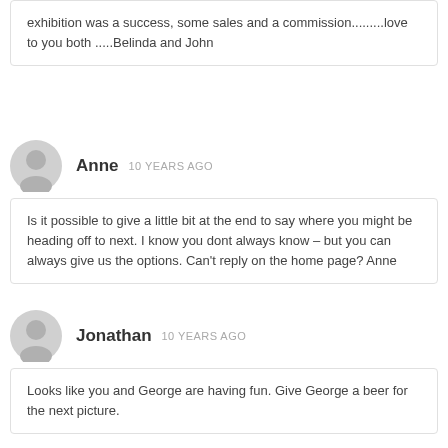exhibition was a success, some sales and a commission.........love to you both .....Belinda and John
Anne  10 YEARS AGO
Is it possible to give a little bit at the end to say where you might be heading off to next. I know you dont always know – but you can always give us the options. Can't reply on the home page? Anne
Jonathan  10 YEARS AGO
Looks like you and George are having fun. Give George a beer for the next picture.